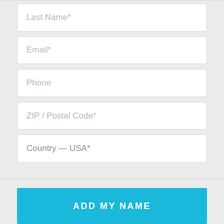[Figure (screenshot): Web form fields showing Last Name*, Email*, Phone, ZIP / Postal Code*, Country — USA* input fields and an ADD MY NAME button]
Last Name*
Email*
Phone
ZIP / Postal Code*
Country — USA*
ADD MY NAME